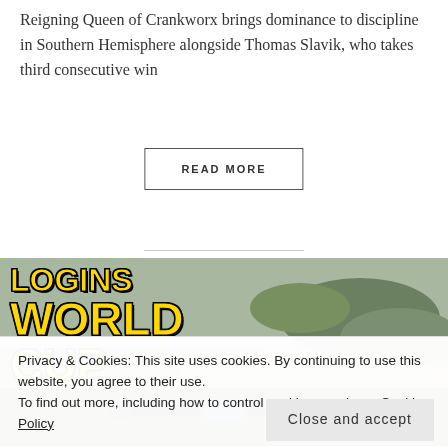Reigning Queen of Crankworx brings dominance to discipline in Southern Hemisphere alongside Thomas Slavik, who takes third consecutive win
READ MORE
[Figure (photo): Mountain bike action shot overlaid with large text reading 'LOGINS WORLD CUP' in gold/yellow font on a background of rocky trail and green vegetation. Bike handlebars visible in foreground.]
Privacy & Cookies: This site uses cookies. By continuing to use this website, you agree to their use.
To find out more, including how to control cookies, see here: Cookie Policy
Close and accept